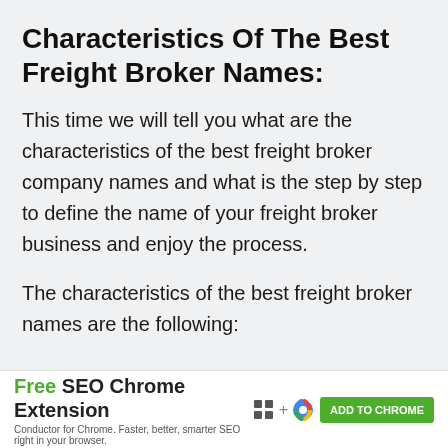Characteristics Of The Best Freight Broker Names:
This time we will tell you what are the characteristics of the best freight broker company names and what is the step by step to define the name of your freight broker business and enjoy the process.
The characteristics of the best freight broker names are the following:
[Figure (infographic): Advertisement banner: Free SEO Chrome Extension by Conductor. Green 'ADD TO CHROME' button on right side with grid icon and Chrome icon.]